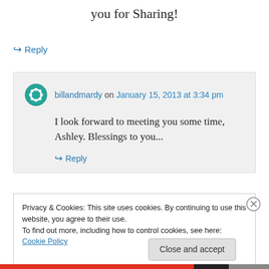you for Sharing!
↪ Reply
billandmardy on January 15, 2013 at 3:34 pm
I look forward to meeting you some time, Ashley. Blessings to you...
↪ Reply
Privacy & Cookies: This site uses cookies. By continuing to use this website, you agree to their use.
To find out more, including how to control cookies, see here: Cookie Policy
Close and accept